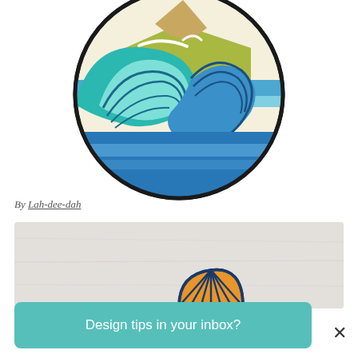[Figure (illustration): A circular sticker-style illustration of an ocean wave with a mountain/landscape scene inside, rendered in teal, blue, green, and sandy yellow tones with bold black outlines]
By Lah-dee-dah
[Figure (photo): A textured grey/white background card with a partial shell logo peeking from the bottom center, belonging to a second product/article card]
Design tips in your inbox?